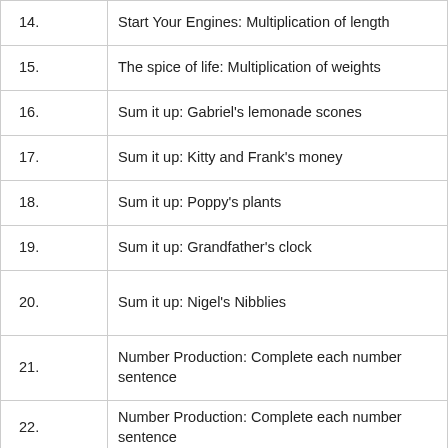| # | Title |
| --- | --- |
| 14. | Start Your Engines: Multiplication of length |
| 15. | The spice of life: Multiplication of weights |
| 16. | Sum it up: Gabriel's lemonade scones |
| 17. | Sum it up: Kitty and Frank's money |
| 18. | Sum it up: Poppy's plants |
| 19. | Sum it up: Grandfather's clock |
| 20. | Sum it up: Nigel's Nibblies |
| 21. | Number Production: Complete each number sentence |
| 22. | Number Production: Complete each number sentence |
| 23. | Maths Production: Complete each number sentence |
| 24. | Number Production: Complete each number sentence |
| 25. | Number Production: Complete each number sentence |